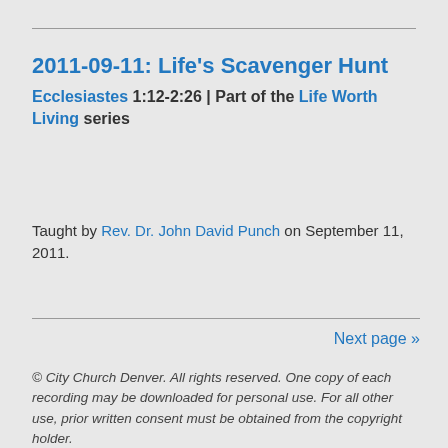2011-09-11: Life's Scavenger Hunt
Ecclesiastes 1:12-2:26 | Part of the Life Worth Living series
Taught by Rev. Dr. John David Punch on September 11, 2011.
Next page »
© City Church Denver. All rights reserved. One copy of each recording may be downloaded for personal use. For all other use, prior written consent must be obtained from the copyright holder.